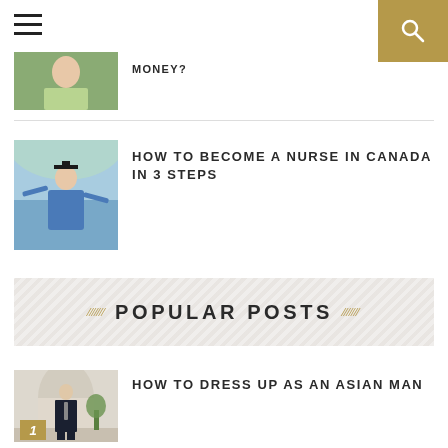[Figure (other): Hamburger menu icon (three horizontal lines)]
[Figure (other): Gold search button with magnifying glass icon in top right corner]
[Figure (photo): Partial photo of a person outdoors with green background]
MONEY?
[Figure (photo): Photo of a graduating student in cap and gown with arms outstretched outdoors]
HOW TO BECOME A NURSE IN CANADA IN 3 STEPS
POPULAR POSTS
[Figure (photo): Photo of an Asian man in a dark suit standing in an interior hallway, with a gold number 1 badge]
HOW TO DRESS UP AS AN ASIAN MAN